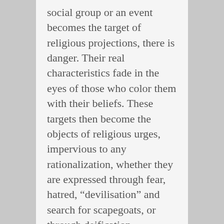social group or an event becomes the target of religious projections, there is danger. Their real characteristics fade in the eyes of those who color them with their beliefs. These targets then become the objects of religious urges, impervious to any rationalization, whether they are expressed through fear, hatred, “devilisation” and search for scapegoats, or through deification, idealization and unconditional devotion.
From Princess Diana to Waco, and from Mother Teresa to